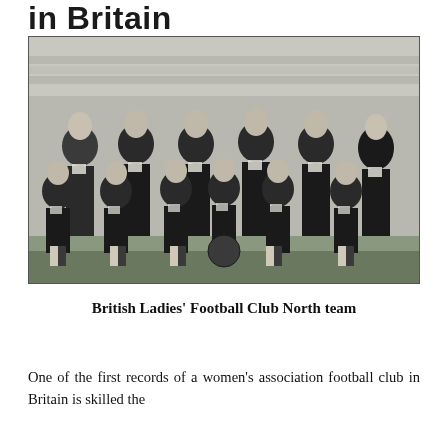in Britain
[Figure (photo): Black and white historical photograph of the British Ladies' Football Club North team. Two rows of women in Victorian-era football clothing — dark jerseys with white collars, long skirts or knickerbockers, and boots. Six women stand in the back row and six sit/crouch in the front row on grass, with a football on the ground. A brick wall is visible in the background.]
British Ladies' Football Club North team
One of the first records of a women's association football club in Britain is skilled the